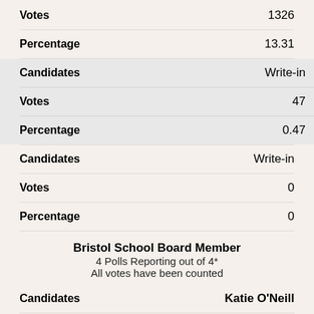| Field | Value |
| --- | --- |
| Votes | 1326 |
| Percentage | 13.31 |
| Candidates | Write-in |
| Votes | 47 |
| Percentage | 0.47 |
| Candidates | Write-in |
| Votes | 0 |
| Percentage | 0 |
Bristol School Board Member
4 Polls Reporting out of 4*
All votes have been counted
| Field | Value |
| --- | --- |
| Candidates | Katie O'Neill |
| Votes |  |
| Percentage | 24.39 |